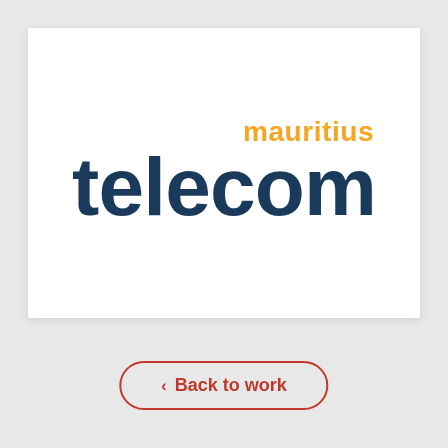[Figure (logo): Mauritius Telecom logo: 'mauritius' in orange above 'telecom' in dark navy blue, large sans-serif rounded font]
< Back to work